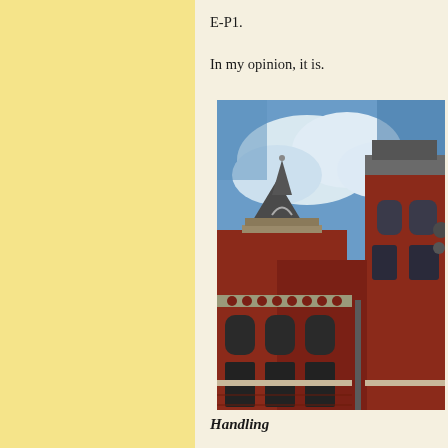E-P1.
In my opinion, it is.
[Figure (photo): Upward-angle photograph of a red brick Victorian-era building with arched windows, ornate cornice details, and decorative tower elements against a partly cloudy blue sky.]
Handling